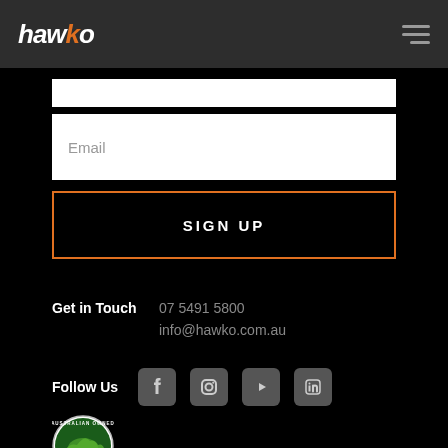hawko
Email
SIGN UP
Get in Touch   07 5491 5800   info@hawko.com.au
Follow Us
[Figure (logo): Australian Owned Certified badge - circular green and yellow logo]